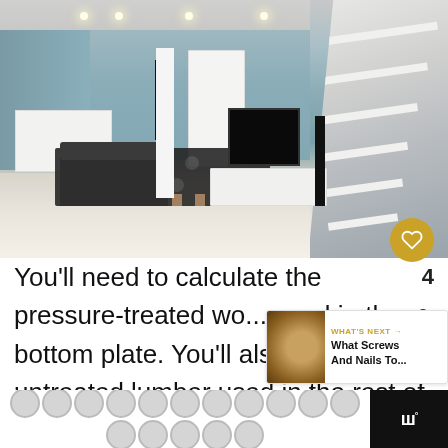[Figure (photo): Interior photo of a finished basement with white walls, light gray-blue paint, dark patterned rug, dark sofa, white TV stand with large flat-screen TV and tall speakers, white column, recessed ceiling lights, and white open staircase on the right side.]
You'll need to calculate the pressure-treated wo... used in the bottom plate. You'll also cal... untreated lumber used in the rest of your basement frame.
[Figure (infographic): WHAT'S NEXT arrow label in gold, with thumbnail image of wood screws/nails and text 'What Screws And Nails To...']
[Figure (other): Bottom advertisement bar with repeating circle pattern on white background and logo 'www degree symbol' on black background on the right.]